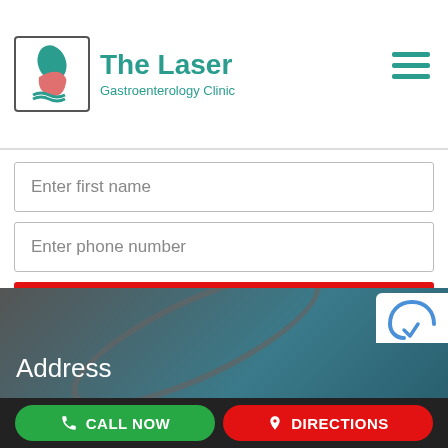[Figure (logo): The Laser Gastroenterology Clinic logo with teal leaf and stomach icon in a bordered box]
Enter first name
Enter phone number
I WANT THIS NOW!
And don't worry, we hate spam too! You can unsubscribe at anytime.
powered by MailMunch
Address
CALL NOW
DIRECTIONS